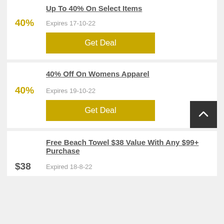Up To 40% On Select Items
40%
Expires 17-10-22
Get Deal
40% Off On Womens Apparel
40%
Expires 19-10-22
Get Deal
Free Beach Towel $38 Value With Any $99+ Purchase
$38
Expired 18-8-22